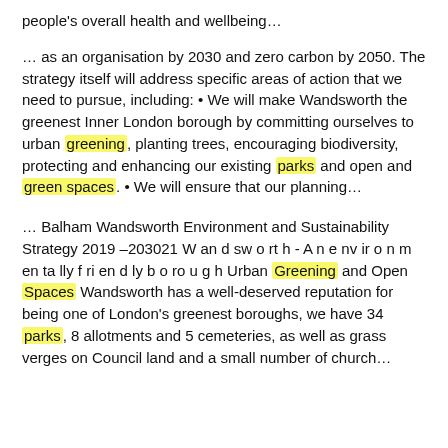people's overall health and wellbeing...
... as an organisation by 2030 and zero carbon by 2050. The strategy itself will address specific areas of action that we need to pursue, including: • We will make Wandsworth the greenest Inner London borough by committing ourselves to urban greening, planting trees, encouraging biodiversity, protecting and enhancing our existing parks and open and green spaces. • We will ensure that our planning...
... Balham Wandsworth Environment and Sustainability Strategy 2019 –203021 W an d sw o rt h - A n e nv ir o n m en ta lly f ri en d ly b o ro u g h Urban Greening and Open Spaces Wandsworth has a well-deserved reputation for being one of London's greenest boroughs, we have 34 parks, 8 allotments and 5 cemeteries, as well as grass verges on Council land and a small number of church...